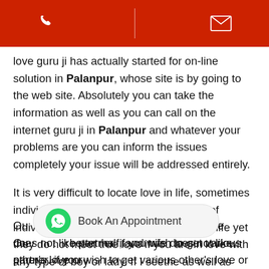[Phone icon] | [Email icon]
love guru ji has actually started for on-line solution in Palanpur, whose site is by going to the web site. Absolutely you can take the information as well as you can call on the internet guru ji in Palanpur and whatever your problems are you can inform the issues completely your issue will be addressed entirely.
It is very difficult to locate love in life, sometimes individuals obtain genuine love yet a lot of individuals are those who look for love in life yet they do not meet true love if you are in love with any type of boy or lady. If I seethe as well as there is a trouble, then that issue is resolved by our people in Palanpur.
[Figure (other): WhatsApp Book An Appointment button]
Ou... better half, and wife does not like partner. if you wish to get various other's love or